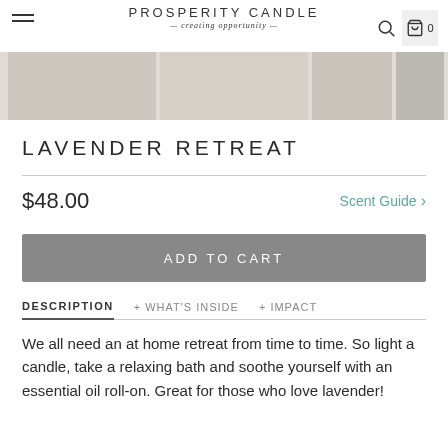PROSPERITY CANDLE — creating opportunity — [search icon] [cart icon] 0
[Figure (photo): Product images of lavender candle and related items]
LAVENDER RETREAT
$48.00   Scent Guide >
ADD TO CART
DESCRIPTION   + WHAT'S INSIDE   + IMPACT
We all need an at home retreat from time to time. So light a candle, take a relaxing bath and soothe yourself with an essential oil roll-on. Great for those who love lavender!